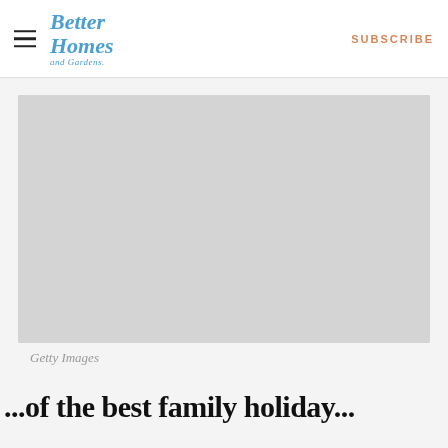Better Homes and Gardens | SUBSCRIBE
[Figure (photo): Large placeholder image in light gray, likely a family holiday photo]
Getty Images
...of the best family holiday...